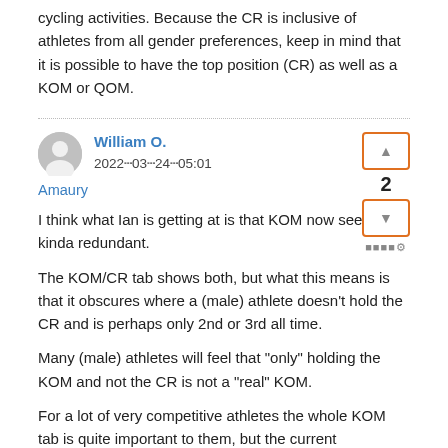cycling activities. Because the CR is inclusive of athletes from all gender preferences, keep in mind that it is possible to have the top position (CR) as well as a KOM or QOM.
William O.
2022✄03✄24✄05:01
Amaury
I think what Ian is getting at is that KOM now seems kinda redundant.

The KOM/CR tab shows both, but what this means is that it obscures where a (male) athlete doesn't hold the CR and is perhaps only 2nd or 3rd all time.

Many (male) athletes will feel that "only" holding the KOM and not the CR is not a "real" KOM.

For a lot of very competitive athletes the whole KOM tab is quite important to them, but the current functionality of the list is very basic.

I would also add that from a female athletes point of view knowing which QOMs are also CRs would be very welcome. Currently the